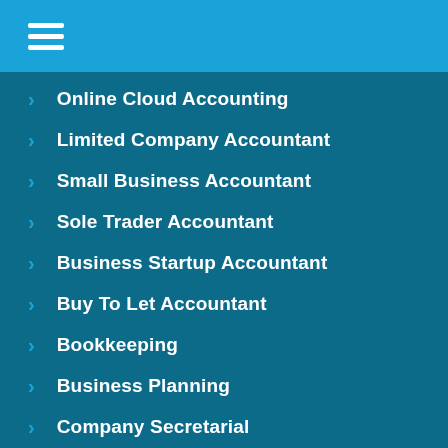[Figure (screenshot): Mobile app navigation header with hamburger menu icon on blue background]
Online Cloud Accounting
Limited Company Accountant
Small Business Accountant
Sole Trader Accountant
Business Startup Accountant
Buy To Let Accountant
Bookkeeping
Business Planning
Company Secretarial
Corporate Tax Planning
Payroll